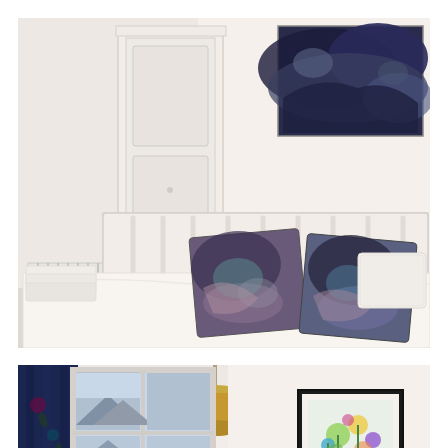[Figure (photo): Interior bedroom photo showing a white double bed with two decorative dark blue/purple printed cushions, white pillows, white wardrobe/armoire on the left, radiator in bottom-left corner, abstract dark blue/stormy painting on the upper-right wall, white walls, white headboard with slatted design.]
[Figure (photo): Interior room photo showing a window with blue curtains featuring floral pattern on the left, a gold/bronze pendant light hanging from the ceiling, white walls, and a framed colorful floral artwork on the right wall. A cyan/teal scroll-to-top button appears in the bottom-right corner.]